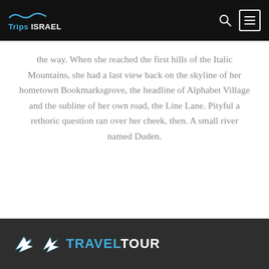Trips ISRAEL
the way. When she reached the first hills of the Italic Mountains, she had a last view back on the skyline of her hometown Bookmarksgrove, the headline of Alphabet Village and the subline of her own road, the Line Lane. Pityful a rethoric question ran over her cheek, then. A small river named Duden.
TRAVELTOUR